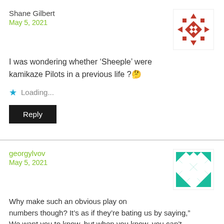Shane Gilbert
May 5, 2021
I was wondering whether 'Sheeple' were kamikaze Pilots in a previous life ?🤔
Loading...
Reply
georgylvov
May 5, 2021
Why make such an obvious play on numbers though? It's as if they're bating us by saying," We want you to know, but when you know, you can't do anything about it". That's how it looks to me. It's like when Blofeld boasts to Bond about his evil plan near